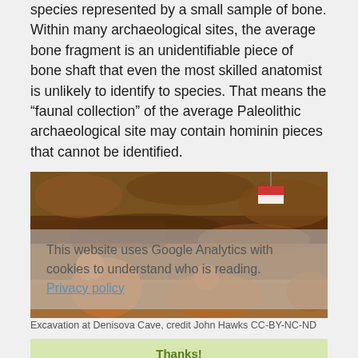species represented by a small sample of bone. Within many archaeological sites, the average bone fragment is an unidentifiable piece of bone shaft that even the most skilled anatomist is unlikely to identify to species. That means the “faunal collection” of the average Paleolithic archaeological site may contain hominin pieces that cannot be identified.
[Figure (photo): Excavation at Denisova Cave showing researchers working in a dirt excavation site with rocks and sediment layers. A red and white marker is visible in the background. An overlay reads: 'This website uses Google Analytics with cookies to understand who is reading. Privacy policy']
Excavation at Denisova Cave, credit John Hawks CC-BY-NC-ND
Thanks!
The ZooMS technique allows a basic identification of a bone specimen to biological family or in some cases